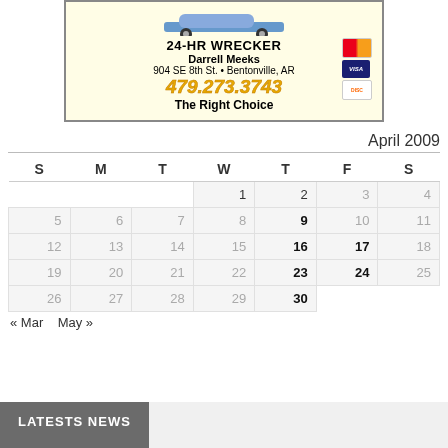[Figure (infographic): Yellow advertisement box for 24-HR Wrecker service by Darrell Meeks, 904 SE 8th St., Bentonville AR, phone 479.273.3743, tagline The Right Choice, with credit card logos]
April 2009
| S | M | T | W | T | F | S |
| --- | --- | --- | --- | --- | --- | --- |
|  |  |  | 1 | 2 | 3 | 4 |
| 5 | 6 | 7 | 8 | 9 | 10 | 11 |
| 12 | 13 | 14 | 15 | 16 | 17 | 18 |
| 19 | 20 | 21 | 22 | 23 | 24 | 25 |
| 26 | 27 | 28 | 29 | 30 |  |  |
« Mar   May »
LATESTS NEWS